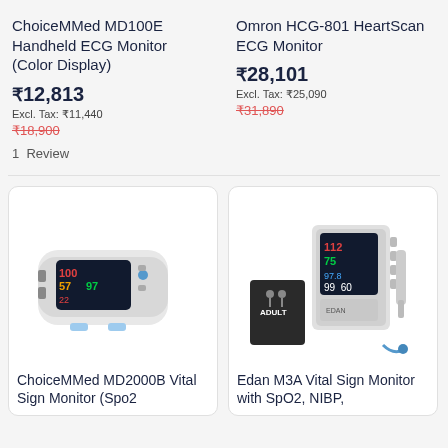ChoiceMMed MD100E Handheld ECG Monitor (Color Display)
₹12,813
Excl. Tax: ₹11,440
₹18,900 (strikethrough)
1 Review
Omron HCG-801 HeartScan ECG Monitor
₹28,101
Excl. Tax: ₹25,090
₹31,890 (strikethrough)
[Figure (photo): ChoiceMMed MD2000B Vital Sign Monitor (Spo2), a white medical device with a colorful display showing patient vital signs]
ChoiceMMed MD2000B Vital Sign Monitor (Spo2
[Figure (photo): Edan M3A Vital Sign Monitor with SpO2, NIBP, a white multi-parameter patient monitor with a colorful display, cuff, and thermometer accessories]
Edan M3A Vital Sign Monitor with SpO2, NIBP,